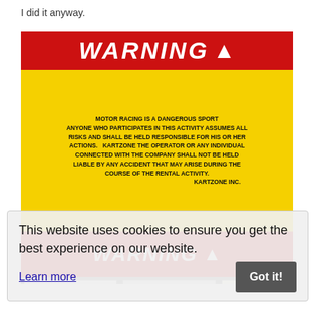I did it anyway.
[Figure (photo): Photo of a WARNING sign at Kartzone motor racing facility. The sign has a red top with 'WARNING' in white italic letters, a yellow middle section with black text reading 'MOTOR RACING IS A DANGEROUS SPORT ANYONE WHO PARTICIPATES IN THIS ACTIVITY ASSUMES ALL RISKS AND SHALL BE HELD RESPONSIBLE FOR HIS OR HER ACTIONS. KARTZONE THE OPERATOR OR ANY INDIVIDUAL CONNECTED WITH THE COMPANY SHALL NOT BE HELD LIABLE BY ANY ACCIDENT THAT MAY ARISE DURING THE COURSE OF THE RENTAL ACTIVITY. KARTZONE INC.' and a red bottom with 'WARNING' again in large white letters with an exclamation mark. Below the main sign are smaller signs including an ADVISORY sign about refusing service to those under the influence, a price board showing Single-Seater Karts P300.00 per lap and Two-Seater Karts P350.00 per lap, and a Safety Rules and Regulations sign.]
This website uses cookies to ensure you get the best experience on our website.
Learn more
Got it!